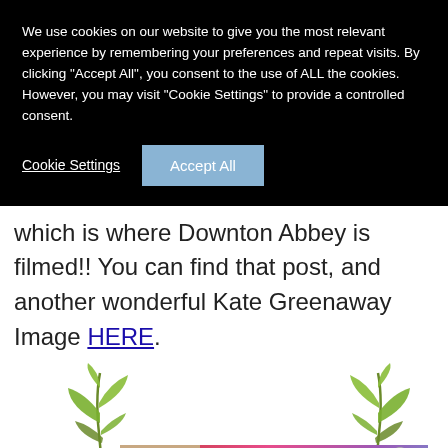We use cookies on our website to give you the most relevant experience by remembering your preferences and repeat visits. By clicking "Accept All", you consent to the use of ALL the cookies. However, you may visit "Cookie Settings" to provide a controlled consent.
Cookie Settings | Accept All
which is where Downton Abbey is filmed!! You can find that post, and another wonderful Kate Greenaway Image HERE.
[Figure (illustration): Decorative plant leaves on left and right with an advertisement banner for 'Meet Local Singles' (Clover dating app) at the bottom, showing a woman's photo on the left side of the ad.]